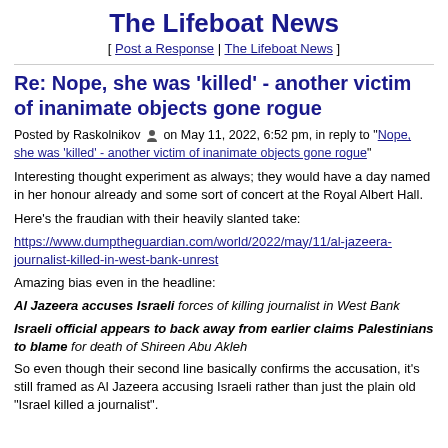The Lifeboat News
[ Post a Response | The Lifeboat News ]
Re: Nope, she was 'killed' - another victim of inanimate objects gone rogue
Posted by Raskolnikov on May 11, 2022, 6:52 pm, in reply to "Nope, she was 'killed' - another victim of inanimate objects gone rogue"
Interesting thought experiment as always; they would have a day named in her honour already and some sort of concert at the Royal Albert Hall.
Here's the fraudian with their heavily slanted take:
https://www.dumptheguardian.com/world/2022/may/11/al-jazeera-journalist-killed-in-west-bank-unrest
Amazing bias even in the headline:
Al Jazeera accuses Israeli forces of killing journalist in West Bank
Israeli official appears to back away from earlier claims Palestinians to blame for death of Shireen Abu Akleh
So even though their second line basically confirms the accusation, it's still framed as Al Jazeera accusing Israeli rather than just the plain old "Israel killed a journalist".